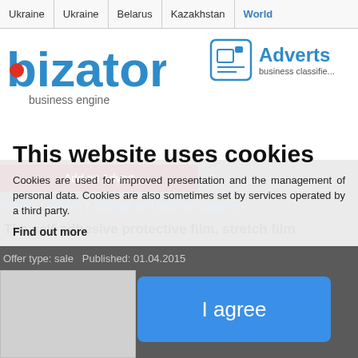Ukraine | Ukraine | Belarus | Kazakhstan | World
[Figure (logo): Bizator business engine logo with blue text and red dot]
Adverts
business classifieds
This website uses cookies
Cookies are used for improved presentation and the management of personal data. Cookies are also sometimes set by services operated by a third party.
Find out more
Bizator / Adverts / package and packing, equipment
The self-adhesive protective film, stretch film
Offer type: sale   Published: 01.04.2015
I agree